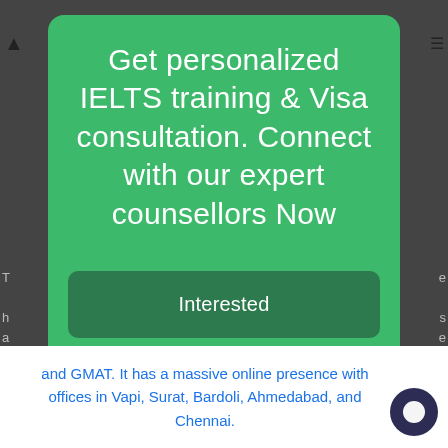[Figure (screenshot): Green modal popup overlay on a webpage background. The modal contains the text 'Get personalized IELTS training & Visa consultation. Connect with our expert counsellors Now', a dark green 'Interested' button, and a 'No, Thanks' text link. Behind the modal, partial page text is visible on left and right sides. At the bottom, a white bar shows text in blue: 'and GMAT. It has a massive online presence with offices in Vapi, Surat, Bardoli, Ahmedabad, and Chennai.' A dark circular chat bubble icon is in the bottom-right corner.]
Get personalized IELTS training & Visa consultation. Connect with our expert counsellors Now
Interested
No, Thanks
and GMAT. It has a massive online presence with offices in Vapi, Surat, Bardoli, Ahmedabad, and Chennai.